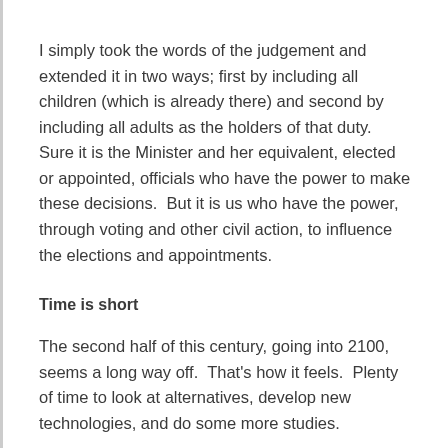I simply took the words of the judgement and extended it in two ways; first by including all children (which is already there) and second by including all adults as the holders of that duty.  Sure it is the Minister and her equivalent, elected or appointed, officials who have the power to make these decisions.  But it is us who have the power, through voting and other civil action, to influence the elections and appointments.
Time is short
The second half of this century, going into 2100, seems a long way off.  That's how it feels.  Plenty of time to look at alternatives, develop new technologies, and do some more studies.